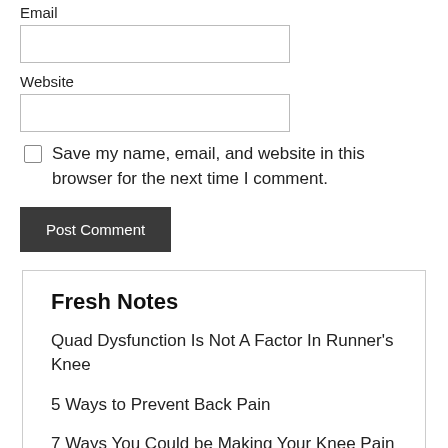Email
Website
Save my name, email, and website in this browser for the next time I comment.
Post Comment
Fresh Notes
Quad Dysfunction Is Not A Factor In Runner's Knee
5 Ways to Prevent Back Pain
7 Ways You Could be Making Your Knee Pain